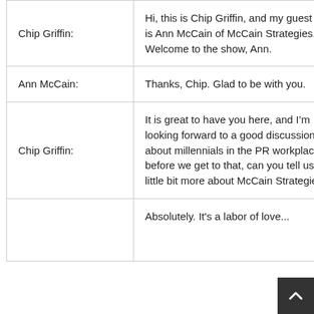| Speaker | Text |
| --- | --- |
| Chip Griffin: | Hi, this is Chip Griffin, and my guest today is Ann McCain of McCain Strategies. Welcome to the show, Ann. |
| Ann McCain: | Thanks, Chip. Glad to be with you. |
| Chip Griffin: | It is great to have you here, and I’m looking forward to a good discussion about millennials in the PR workplace, but before we get to that, can you tell us a little bit more about McCain Strategies? |
|  | Absolutely. It's a labor of love... |